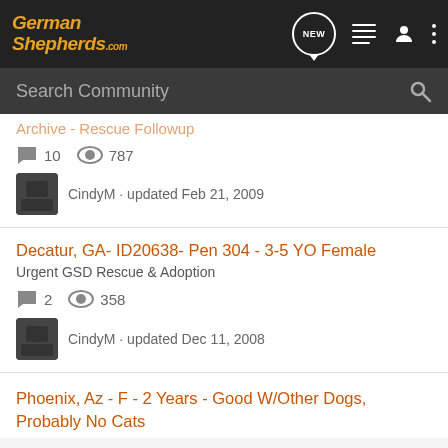GermanShepherds.com — navigation bar with logo, NEW chat, list, user, and menu icons
Search Community
Archive - Rescue Followup
10 comments · 787 views
CindyM · updated Feb 21, 2009
Decatur, GA- ID20638- Pen 304 - 3-5 YO Female
Urgent GSD Rescue & Adoption
2 comments · 358 views
CindyM · updated Dec 11, 2008
Phoenix, Az - F - 2 Years - Good W/Other Dogs, Probably No Cats